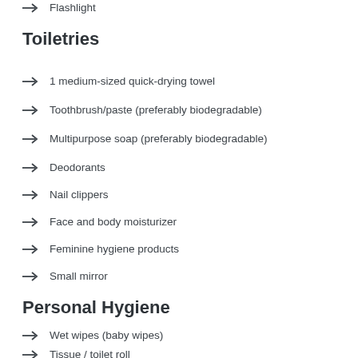Flashlight
Toiletries
1 medium-sized quick-drying towel
Toothbrush/paste (preferably biodegradable)
Multipurpose soap (preferably biodegradable)
Deodorants
Nail clippers
Face and body moisturizer
Feminine hygiene products
Small mirror
Personal Hygiene
Wet wipes (baby wipes)
Tissue / toilet roll